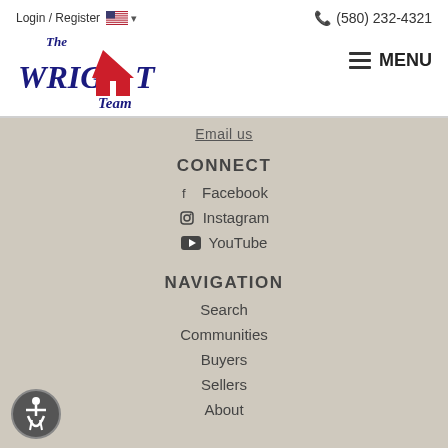Login / Register  (580) 232-4321
[Figure (logo): The Wright Team real estate logo with house icon]
Email us
CONNECT
Facebook
Instagram
YouTube
NAVIGATION
Search
Communities
Buyers
Sellers
About